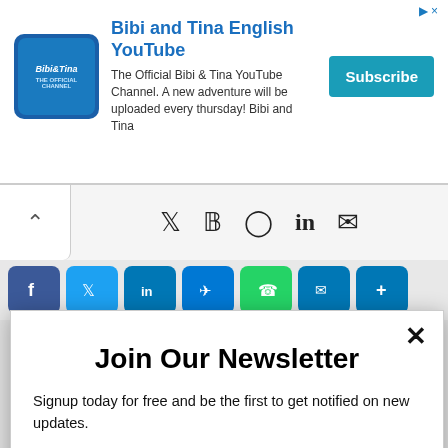[Figure (screenshot): Ad banner for Bibi and Tina English YouTube channel with logo, description text, and Subscribe button]
[Figure (screenshot): Social media icon bar with Twitter, Facebook, Instagram, LinkedIn, and email icons, with a chevron-up on the left]
[Figure (screenshot): Row of social share buttons: Facebook, Twitter, LinkedIn, Messenger, WhatsApp, Email, More]
Join Our Newsletter
Signup today for free and be the first to get notified on new updates.
Enter your email
Subscribe
powered by MailMunch